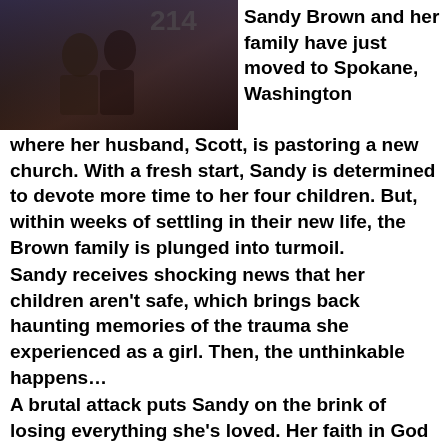[Figure (photo): Book cover image with dark tones showing Ed and Janice Hird text overlay]
Sandy Brown and her family have just moved to Spokane, Washington where her husband, Scott, is pastoring a new church. With a fresh start, Sandy is determined to devote more time to her four children. But, within weeks of settling in their new life, the Brown family is plunged into turmoil.
Sandy receives shocking news that her children aren't safe, which brings back haunting memories of the trauma she experienced as a girl. Then, the unthinkable happens…
A brutal attack puts Sandy on the brink of losing everything she's loved. Her faith in God and the family she cherishes are pushed to the ultimate limit.